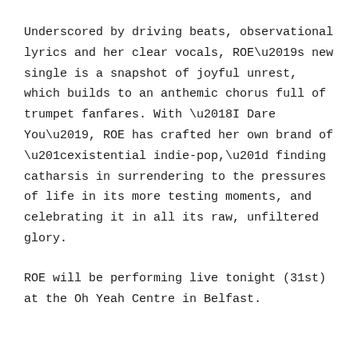Underscored by driving beats, observational lyrics and her clear vocals, ROE’s new single is a snapshot of joyful unrest, which builds to an anthemic chorus full of trumpet fanfares. With ‘I Dare You’, ROE has crafted her own brand of “existential indie-pop,” finding catharsis in surrendering to the pressures of life in its more testing moments, and celebrating it in all its raw, unfiltered glory.
ROE will be performing live tonight (31st) at the Oh Yeah Centre in Belfast.